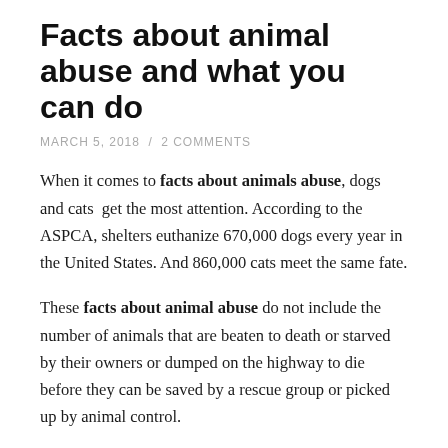Facts about animal abuse and what you can do
MARCH 5, 2018 / 2 COMMENTS
When it comes to facts about animals abuse, dogs and cats get the most attention. According to the ASPCA, shelters euthanize 670,000 dogs every year in the United States. And 860,000 cats meet the same fate.
These facts about animal abuse do not include the number of animals that are beaten to death or starved by their owners or dumped on the highway to die before they can be saved by a rescue group or picked up by animal control.
The good news is that this statistic is going down. Due